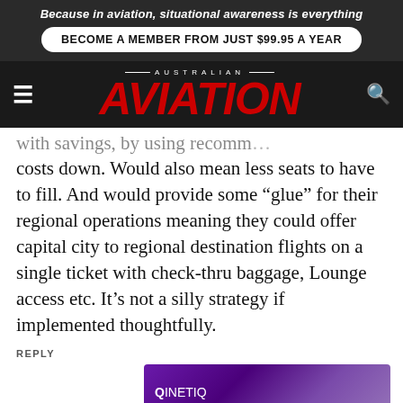Because in aviation, situational awareness is everything
BECOME A MEMBER FROM JUST $99.95 A YEAR
[Figure (logo): Australian Aviation magazine logo with red italic AVIATION text on dark background with hamburger menu and search icon]
costs down. Would also mean less seats to have to fill. And would provide some “glue” for their regional operations meaning they could offer capital city to regional destination flights on a single ticket with check-thru baggage, Lounge access etc. It’s not a silly strategy if implemented thoughtfully.
REPLY
[Figure (illustration): QinetiQ advertisement banner: Enabling critical UAS technologies, purple gradient background with drone/aircraft imagery]
Sh